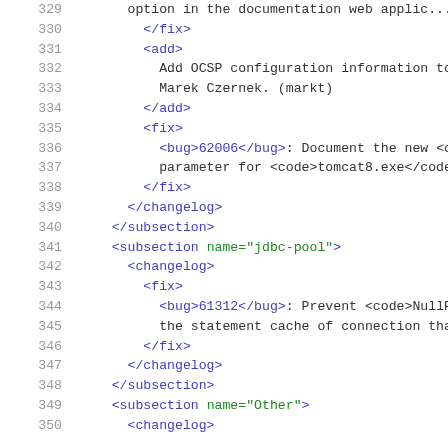329     option in the documentation web applic...
330         </fix>
331         <add>
332           Add OCSP configuration information to t
333           Marek Czernek. (markt)
334         </add>
335         <fix>
336           <bug>62006</bug>: Document the new <cod
337           parameter for <code>tomcat8.exe</code>.
338         </fix>
339       </changelog>
340     </subsection>
341     <subsection name="jdbc-pool">
342       <changelog>
343         <fix>
344           <bug>61312</bug>: Prevent <code>NullPoi
345           the statement cache of connection that
346         </fix>
347       </changelog>
348     </subsection>
349     <subsection name="Other">
350       <changelog>